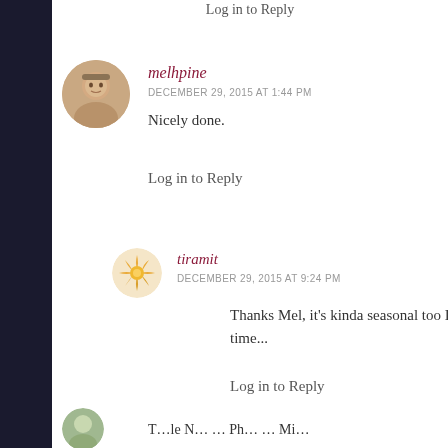Log in to Reply
melhpine
DECEMBER 29, 2015 AT 1:44 PM
Nicely done.
Log in to Reply
tiramit
DECEMBER 29, 2015 AT 9:24 PM
Thanks Mel, it's kinda seasonal too I time...
Log in to Reply